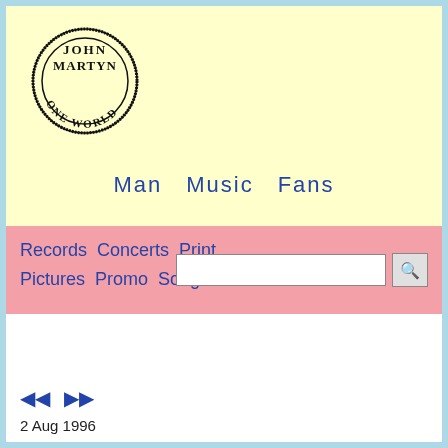[Figure (logo): John Martyn One World circular stamp logo in black ink]
Man   Music   Fans
Records  Concerts  Print
Pictures  Promo  Songs
[Figure (other): Search input field with magnifying glass button]
◄◄   ►►
2 Aug 1996